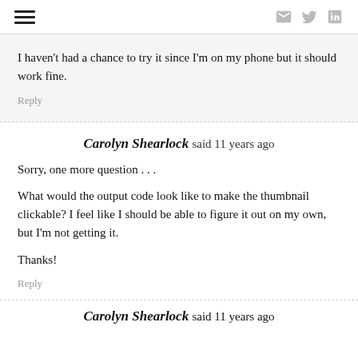hamburger menu | email, twitter, linkedin icons
I haven't had a chance to try it since I'm on my phone but it should work fine.
Reply
Carolyn Shearlock said 11 years ago
Sorry, one more question . . .
What would the output code look like to make the thumbnail clickable? I feel like I should be able to figure it out on my own, but I'm not getting it.
Thanks!
Reply
Carolyn Shearlock said 11 years ago